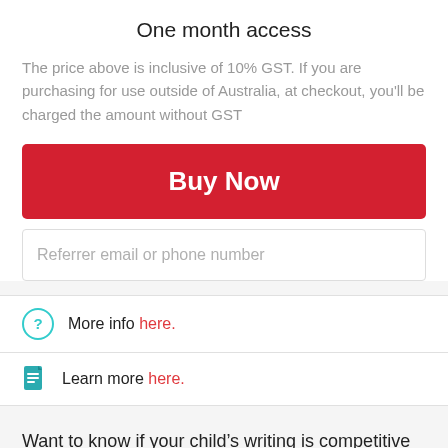One month access
The price above is inclusive of 10% GST. If you are purchasing for use outside of Australia, at checkout, you'll be charged the amount without GST
Buy Now
Referrer email or phone number
More info here.
Learn more here.
Want to know if your child’s writing is competitive or not?